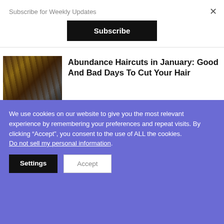Subscribe for Weekly Updates
Subscribe
Abundance Haircuts in January: Good And Bad Days To Cut Your Hair
MANTRAS / 3 years ago
8 Powerful Healing Mantras For Mental, Emotional, And Physical Health
We use cookies on our website to give you the most relevant experience by remembering your preferences and repeat visits. By clicking “Accept”, you consent to the use of ALL the cookies.
Do not sell my personal information.
Settings
Accept